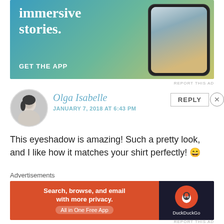[Figure (screenshot): Mobile app advertisement with gradient blue-green-yellow background, text 'immersive stories.' and 'GET THE APP', with a phone showing a waterfall/person image]
REPORT THIS AD
Olga Isabelle
JANUARY 7, 2018 AT 6:43 PM
This eyeshadow is amazing! Such a pretty look, and I like how it matches your shirt perfectly! 😄
★ Liked by 1 person
REPLY
Advertisements
[Figure (screenshot): DuckDuckGo advertisement: orange background with text 'Search, browse, and email with more privacy. All in One Free App', dark panel with DuckDuckGo duck logo]